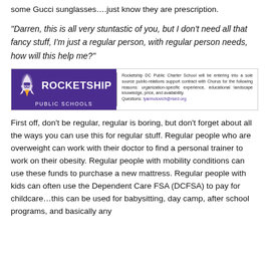some Gucci sunglasses….just know they are prescription.
“Darren, this is all very stuntastic of you, but I don’t need all that fancy stuff, I’m just a regular person, with regular person needs, how will this help me?”
[Figure (other): Rocketship Public Schools advertisement banner. Purple background on left with rocket logo and text 'ROCKETSHIP PUBLIC SCHOOLS'. Right side reads: 'Rocketship DC Public Charter School will be entering into a sole source public-relations support contract with Chorus for the following reasons: organization-specific experience, educational landscape knowledge, price, and availability. Questions: lyarmolovich@rsed.org']
First off, don’t be regular, regular is boring, but don’t forget about all the ways you can use this for regular stuff. Regular people who are overweight can work with their doctor to find a personal trainer to work on their obesity. Regular people with mobility conditions can use these funds to purchase a new mattress. Regular people with kids can often use the Dependent Care FSA (DCFSA) to pay for childcare…this can be used for babysitting, day camp, after school programs, and basically any